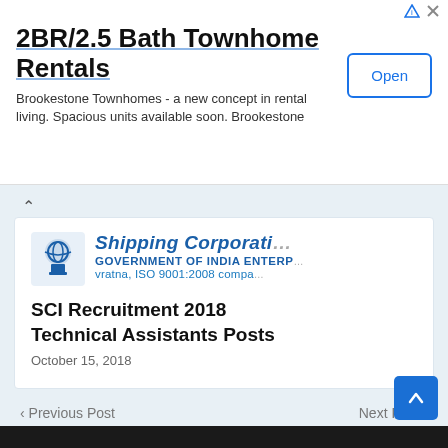[Figure (screenshot): Advertisement banner for '2BR/2.5 Bath Townhome Rentals' from Brookestone Townhomes with an Open button]
[Figure (logo): Shipping Corporation of India logo with text: GOVERNMENT OF INDIA ENTERP, vratna, ISO 9001:2008 compa]
SCI Recruitment 2018 Technical Assistants Posts
October 15, 2018
< Previous Post
Next Post >